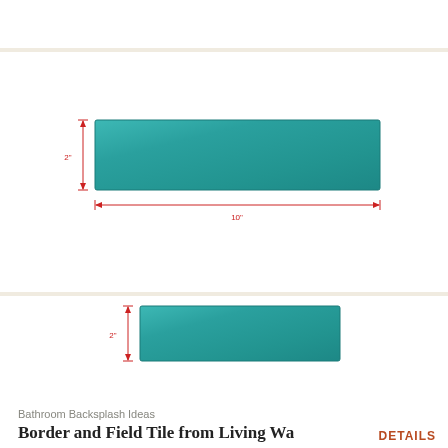[Figure (engineering-diagram): A teal rectangular tile shown with dimension annotations: 2 inches height (left side, vertical red arrow) and 10 inches width (bottom, horizontal red arrow). The tile is wide and narrow, approximately 10x2 inches in proportion.]
[Figure (engineering-diagram): A smaller teal rectangular tile shown with a 2 inch height dimension annotation (left side, vertical red arrow). The tile is narrower in width than the first tile.]
Bathroom Backsplash Ideas
Border and Field Tile from Living Wa
DETAILS